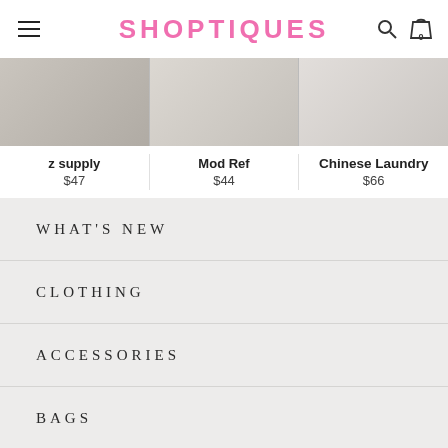SHOPTIQUES
z supply
$47
Mod Ref
$44
Chinese Laundry
$66
WHAT'S NEW
CLOTHING
ACCESSORIES
BAGS
SHOES
SALE
BOUTIQUES